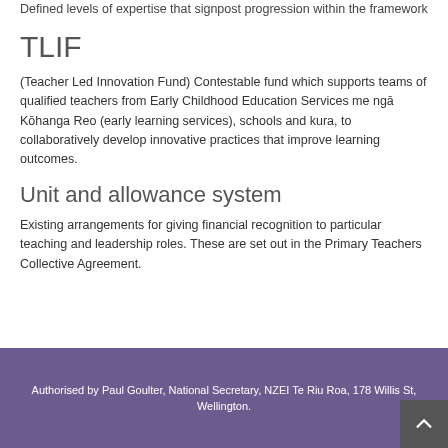Defined levels of expertise that signpost progression within the framework
TLIF
(Teacher Led Innovation Fund) Contestable fund which supports teams of qualified teachers from Early Childhood Education Services me ngā Kōhanga Reo (early learning services), schools and kura, to collaboratively develop innovative practices that improve learning outcomes.
Unit and allowance system
Existing arrangements for giving financial recognition to particular teaching and leadership roles. These are set out in the Primary Teachers Collective Agreement.
Authorised by Paul Goulter, National Secretary, NZEI Te Riu Roa, 178 Willis St, Wellington.